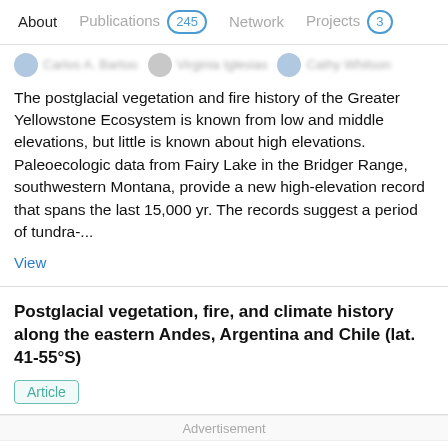About   Publications 245   Network   Projects 3
The postglacial vegetation and fire history of the Greater Yellowstone Ecosystem is known from low and middle elevations, but little is known about high elevations. Paleoecologic data from Fairy Lake in the Bridger Range, southwestern Montana, provide a new high-elevation record that spans the last 15,000 yr. The records suggest a period of tundra-...
View
Postglacial vegetation, fire, and climate history along the eastern Andes, Argentina and Chile (lat. 41-55°S)
Article
Advertisement
[Figure (photo): ThermoFisher Scientific advertisement banner with lab photo on the left and Gene Synthesis Handbook text on the right]
Gene Synthesis Handbook